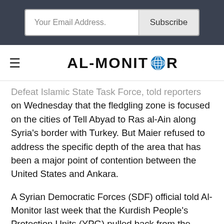[Figure (screenshot): Email subscription bar with 'Your Email Address.' input and 'Subscribe' button on dark background]
[Figure (logo): AL-MONITOR logo with globe icon replacing the O, with hamburger menu icon to the left]
Defeat Islamic State Task Force, told reporters on Wednesday that the fledgling zone is focused on the cities of Tell Abyad to Ras al-Ain along Syria's border with Turkey. But Maier refused to address the specific depth of the area that has been a major point of contention between the United States and Ankara.
A Syrian Democratic Forces (SDF) official told Al-Monitor last week that the Kurdish People's Protection Units (YPG) pulled back from the border about 5 kilometers and up to 14 kilometers (to be continued)...